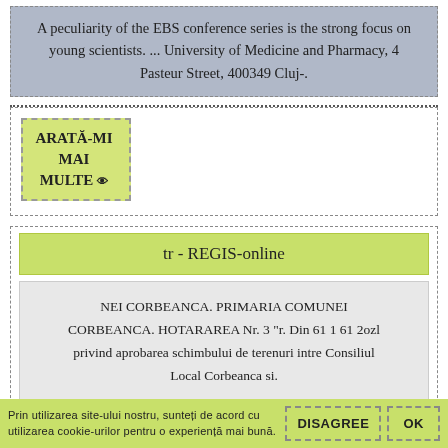A peculiarity of the EBS conference series is the strong focus on young scientists. ... University of Medicine and Pharmacy, 4 Pasteur Street, 400349 Cluj-.
ARATĂ-MI MAI MULTE
tr - REGIS-online
NEI CORBEANCA. PRIMARIA COMUNEI CORBEANCA. HOTARAREA Nr. 3 "r. Din 61 1 61 2ozl privind aprobarea schimbului de terenuri intre Consiliul Local Corbeanca si.
Prin utilizarea site-ului nostru, sunteți de acord cu utilizarea cookie-urilor pentru o experiență mai bună.